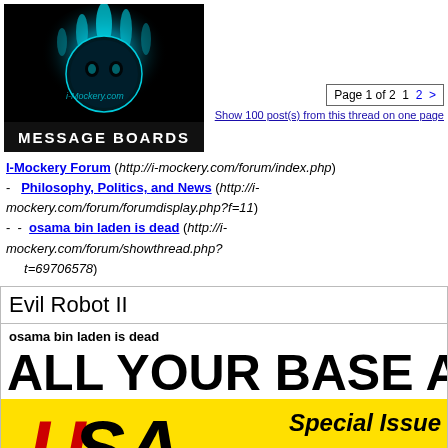[Figure (logo): i-Mockery.com Message Boards logo with dark teal flame/skull design on black background, white bold text 'MESSAGE BOARDS' at bottom]
Page 1 of 2  1  2  >
Show 100 post(s) from this thread on one page
I-Mockery Forum (http://i-mockery.com/forum/index.php) - Philosophy, Politics, and News (http://i-mockery.com/forum/forumdisplay.php?f=11) - - osama bin laden is dead (http://i-mockery.com/forum/showthread.php?t=69706578)
Evil Robot II
osama bin laden is dead
[Figure (photo): Large bold text 'ALL YOUR BASE ARE BELO' (truncated) above a yellow-background image with 'Special Issue' text and partial USA/patriotic imagery with red letters]